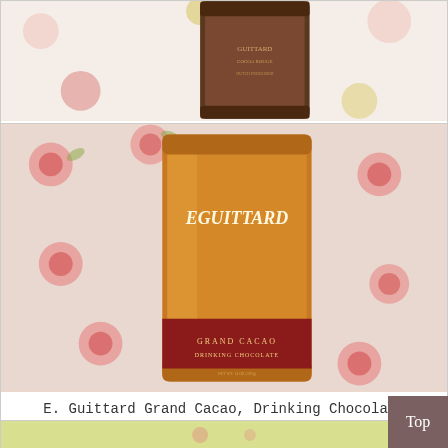[Figure (photo): Partial view of E. Guittard Cocoa Rouge baking chocolate tin cropped at top]
E. Guittard Cocoa Rouge, Baking Chocolate
$12.50
[Figure (photo): E. Guittard Grand Cacao Drinking Chocolate orange tin on floral background with red and green flowers]
E. Guittard Grand Cacao, Drinking Chocolate
$12.50
[Figure (photo): Partial bottom product image on yellow-green background]